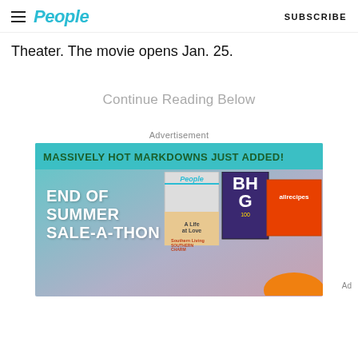People | SUBSCRIBE
Theater. The movie opens Jan. 25.
Continue Reading Below
Advertisement
[Figure (illustration): End of Summer Sale-A-Thon advertisement for People magazine subscriptions, showing magazine covers for People, BHG, Southern Living, and allrecipes. Teal and mauve background with bold white text reading END OF SUMMER SALE-A-THON and banner reading MASSIVELY HOT MARKDOWNS JUST ADDED!]